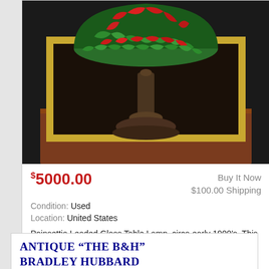[Figure (photo): Stained glass Poinsettia table lamp with colorful red and green leaded glass shade on a bronze base, set on a wooden surface with a framed mirror in the background.]
$5000.00
Buy It Now
$100.00 Shipping
Condition: Used
Location: United States
Poinsettia Leaded Glass Table Lamp, circa early 1900's. This is a beautiful lamp with a wonderful array of colors. The domical glass shade is decorated ... more
ANTIQUE “THE B&H” BRADLEY HUBBARD